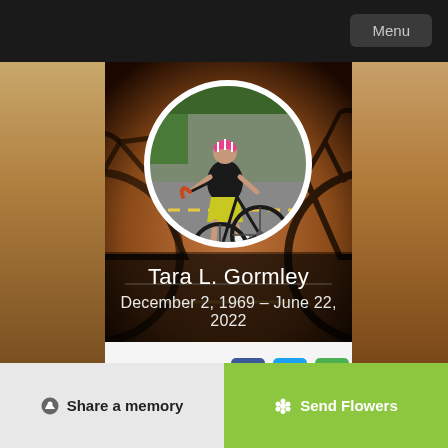Menu
[Figure (photo): Memorial tribute page for Tara L. Gormley showing a circular profile photo of a woman in cycling gear (pink helmet, black outfit) riding a road bicycle, set against a blurred warm-toned background silhouette of a bicycle.]
Tara L. Gormley
December 2, 1969 – June 22, 2022
Share this tribute
Share a memory
Send Flowers